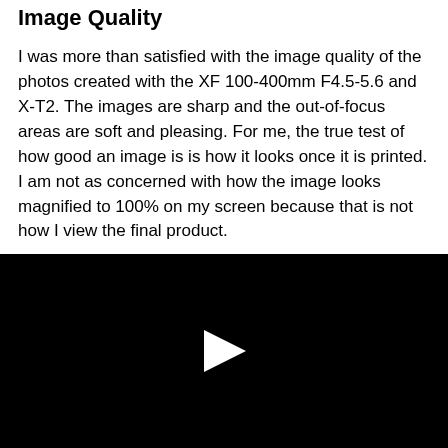Image Quality
I was more than satisfied with the image quality of the photos created with the XF 100-400mm F4.5-5.6 and X-T2. The images are sharp and the out-of-focus areas are soft and pleasing. For me, the true test of how good an image is is how it looks once it is printed. I am not as concerned with how the image looks magnified to 100% on my screen because that is not how I view the final product.
[Figure (other): Black video player with a white play button triangle in the center]